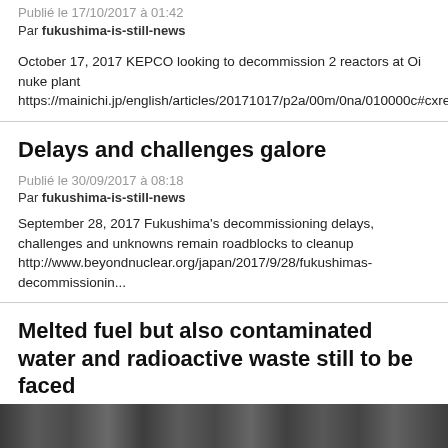Publié le 17/10/2017 à 01:42
Par fukushima-is-still-news
October 17, 2017 KEPCO looking to decommission 2 reactors at Oi nuke plant https://mainichi.jp/english/articles/20171017/p2a/00m/0na/010000c#cxrecs_...
Delays and challenges galore
Publié le 30/09/2017 à 08:18
Par fukushima-is-still-news
September 28, 2017 Fukushima's decommissioning delays, challenges and unknowns remain roadblocks to cleanup http://www.beyondnuclear.org/japan/2017/9/28/fukushimas-decommissionin...
Melted fuel but also contaminated water and radioactive waste still to be faced
Publié le 27/09/2017 à 09:07
Par fukushima-is-still-news
[Figure (photo): Partial view of a photograph showing outdoor scene, appears to be related to Fukushima nuclear site]